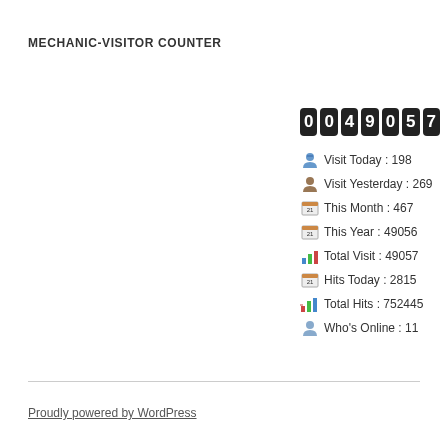MECHANIC-VISITOR COUNTER
[Figure (infographic): Visitor counter widget showing odometer display reading 0049057, and stats: Visit Today: 198, Visit Yesterday: 269, This Month: 467, This Year: 49056, Total Visit: 49057, Hits Today: 2815, Total Hits: 752445, Who's Online: 11]
Proudly powered by WordPress